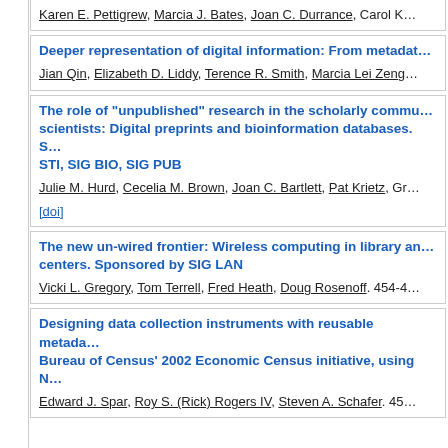Karen E. Pettigrew, Marcia J. Bates, Joan C. Durrance, Carol K...
Deeper representation of digital information: From metadat...
Jian Qin, Elizabeth D. Liddy, Terence R. Smith, Marcia Lei Zeng...
The role of "unpublished" research in the scholarly commu... scientists: Digital preprints and bioinformation databases. S... STI, SIG BIO, SIG PUB
Julie M. Hurd, Cecelia M. Brown, Joan C. Bartlett, Pat Krietz, Gr...
[doi]
The new un-wired frontier: Wireless computing in library an... centers. Sponsored by SIG LAN
Vicki L. Gregory, Tom Terrell, Fred Heath, Doug Rosenoff. 454-4...
Designing data collection instruments with reusable metada... Bureau of Census' 2002 Economic Census initiative, using N...
Edward J. Spar, Roy S. (Rick) Rogers IV, Steven A. Schafer. 45...